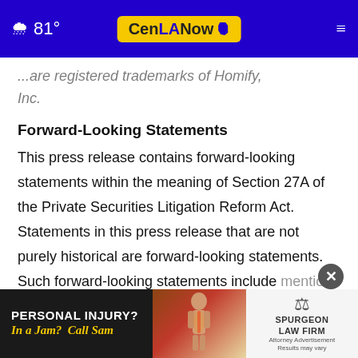81° CenLANow
...are registered trademarks of Homify, Inc.
Forward-Looking Statements
This press release contains forward-looking statements within the meaning of Section 27A of the Private Securities Litigation Reform Act. Statements in this press release that are not purely historical are forward-looking statements. Such forward-looking statements include mentions in this section. Read financial guidance...
[Figure (screenshot): Advertisement overlay: PERSONAL INJURY? In a JAM? Call Sam — Spurgeon Law Firm, with close button]